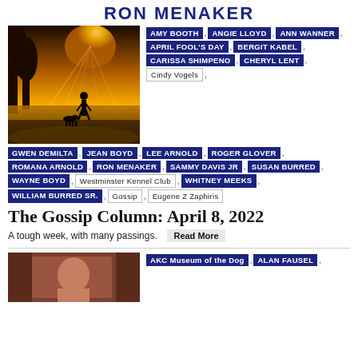RON MENAKER
[Figure (photo): Silhouette of a person walking a dog on a beach at sunset with golden light rays through trees]
AMY BOOTH , ANGIE LLOYD , ANN WANNER , APRIL FOOL'S DAY , BERGIT KABEL , CARISSA SHIMPENO , CHERYL LENT , Cindy Vogels , GWEN DEMILTA , JEAN BOYD , LEE ARNOLD , ROGER GLOVER , ROMANA ARNOLD , RON MENAKER , SAMMY DAVIS JR , SUSAN BURRED , WAYNE BOYD , Westminster Kennel Club , WHITNEY MEEKS , WILLIAM BURRED SR. , Gossip , Eugene Z Zaphiris
The Gossip Column: April 8, 2022
A tough week, with many passings.  Read More
[Figure (photo): Portrait photo of a person indoors]
AKC Museum of the Dog , ALAN FAUSEL ,